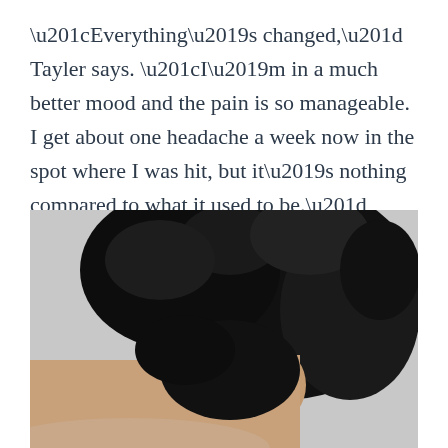“Everything’s changed,” Tayler says. “I’m in a much better mood and the pain is so manageable. I get about one headache a week now in the spot where I was hit, but it’s nothing compared to what it used to be.”
[Figure (photo): Side profile photo of a person with dark curly hair pulled up, showing the back of their head and ear. Behind the ear there is a medical device or patch attached to the skin near the mastoid area.]